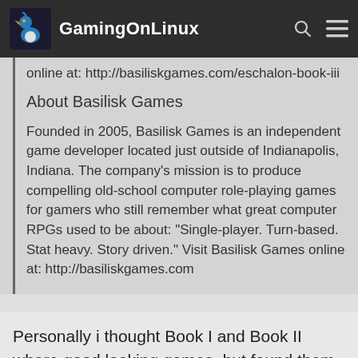GamingOnLinux
online at: http://basiliskgames.com/eschalon-book-iii
About Basilisk Games
Founded in 2005, Basilisk Games is an independent game developer located just outside of Indianapolis, Indiana. The company's mission is to produce compelling old-school computer role-playing games for gamers who still remember what great computer RPGs used to be about: "Single-player. Turn-based. Stat heavy. Story driven." Visit Basilisk Games online at: http://basiliskgames.com
Personally i thought Book I and Book II where good looking games, but found them too in-depth for me